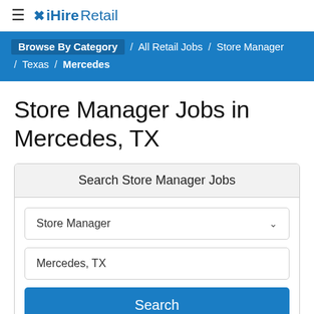≡ ✕ iHireRetail
Browse By Category / All Retail Jobs / Store Manager / Texas / Mercedes
Store Manager Jobs in Mercedes, TX
[Figure (screenshot): Search Store Manager Jobs form with a dropdown set to 'Store Manager', a text input with 'Mercedes, TX', and a blue Search button]